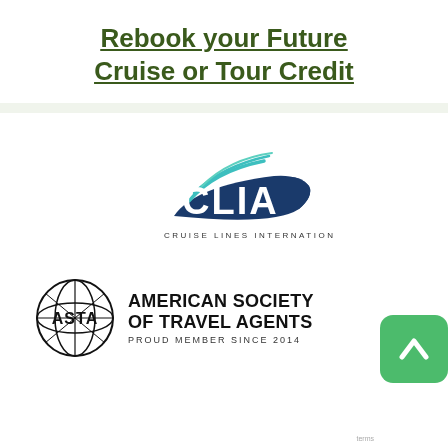Rebook your Future Cruise or Tour Credit
[Figure (logo): CLIA (Cruise Lines International Association) logo featuring navy blue stylized ship bow with teal swoosh lines]
[Figure (logo): ASTA (American Society of Travel Agents) logo with globe icon and text 'AMERICAN SOCIETY OF TRAVEL AGENTS PROUD MEMBER SINCE 2014']